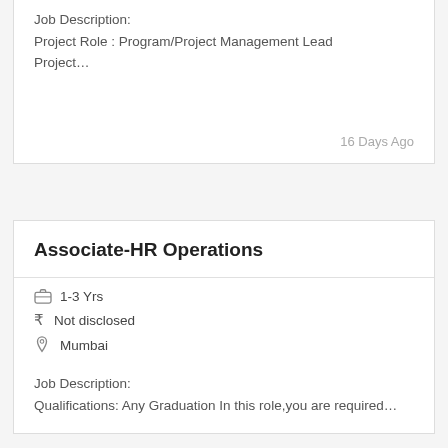Job Description:
Project Role : Program/Project Management Lead Project…
16 Days Ago
Associate-HR Operations
1-3 Yrs
₹ Not disclosed
Mumbai
Job Description:
Qualifications: Any Graduation In this role,you are required…